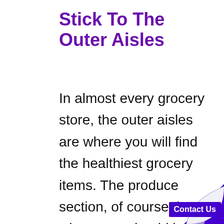Stick To The Outer Aisles
In almost every grocery store, the outer aisles are where you will find the healthiest grocery items. The produce section, of course, is where you should be finding most of your groceries. In most grocery stores, the “health food” section is in the aisles nearest to the produ section, and this is where y